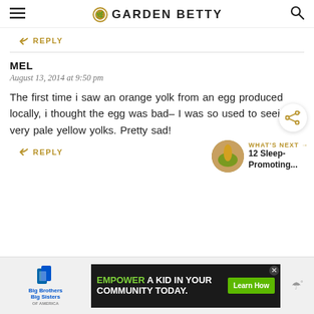GARDEN BETTY
REPLY
MEL
August 13, 2014 at 9:50 pm
The first time i saw an orange yolk from an egg produced locally, i thought the egg was bad– I was so used to seeing very pale yellow yolks. Pretty sad!
REPLY
WHAT'S NEXT → 12 Sleep-Promoting...
[Figure (infographic): Advertisement banner: Big Brothers Big Sisters logo on left; dark banner reading EMPOWER A KID IN YOUR COMMUNITY TODAY. with Learn How button; close button; weather widget on right]